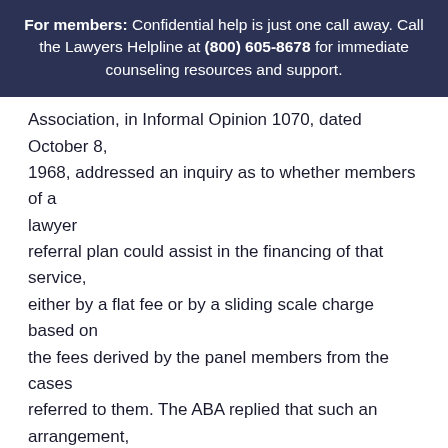For members: Confidential help is just one call away. Call the Lawyers Helpline at (800) 605-8678 for immediate counseling resources and support.
Association, in Informal Opinion 1070, dated October 8, 1968, addressed an inquiry as to whether members of a lawyer referral plan could assist in the financing of that service, either by a flat fee or by a sliding scale charge based on the fees derived by the panel members from the cases referred to them. The ABA replied that such an arrangement, if under the control of the association setting it up, would be permissible under then Canon 34. This opinion